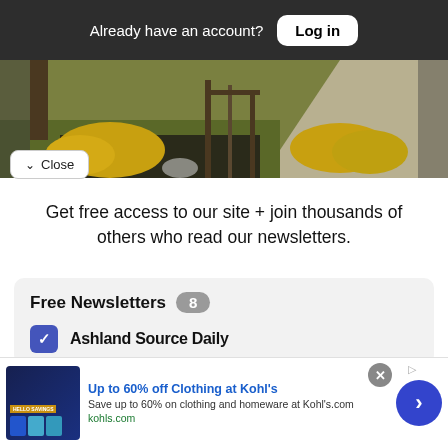Already have an account? Log in
[Figure (photo): Outdoor photo showing a pathway, landscaping with yellow shrubs, grass, and wooden poles/fence posts]
Close
Get free access to our site + join thousands of others who read our newsletters.
Free Newsletters 8
Ashland Source Daily
[Figure (screenshot): Advertisement banner: Up to 60% off Clothing at Kohl's. Save up to 60% on clothing and homeware at Kohl's.com. kohls.com]